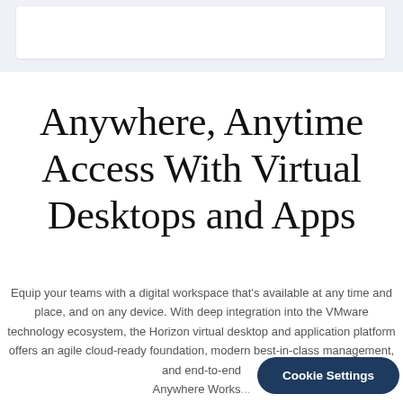[Figure (screenshot): Top navigation bar area with white box/header element on a light blue-grey background]
Anywhere, Anytime Access With Virtual Desktops and Apps
Equip your teams with a digital workspace that's available at any time and place, and on any device. With deep integration into the VMware technology ecosystem, the Horizon virtual desktop and application platform offers an agile cloud-ready foundation, modern best-in-class management, and end-to-end Anywhere Workspace...